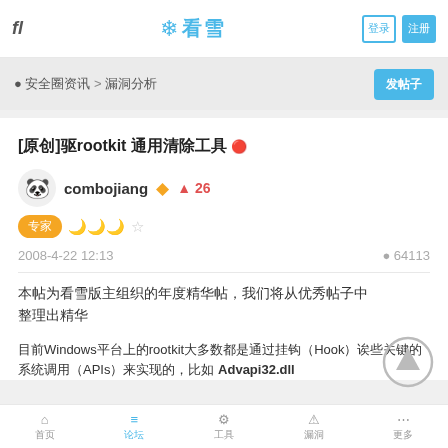fl  看雪  登录 注册
● 安全圈资讯 > 漏洞分析
[原创]驱动rootkit 通用清除工具
combojiang  ◆  ▲ 26
专家  🌙🌙🌙☆
2008-4-22 12:13   ● 64113
本帖为看雪版主组织的年度精华帖，我们将从优秀帖子中整理出精华
目前Windows平台上的rootkit大多数都是通过挂钩（Hook）诶些关键的系统调用（APIs）来实现的，比如 Advapi32.dll
首页  论坛  工具  漏洞  更多